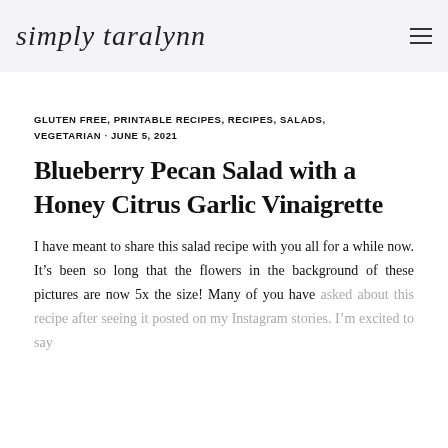simply taralynn
GLUTEN FREE, PRINTABLE RECIPES, RECIPES, SALADS, VEGETARIAN · JUNE 5, 2021
Blueberry Pecan Salad with a Honey Citrus Garlic Vinaigrette
I have meant to share this salad recipe with you all for a while now. It's been so long that the flowers in the background of these pictures are now 5x the size! Many of you have asked about this recipe after seeing it posted on my Instagram stories. I'm excited to say